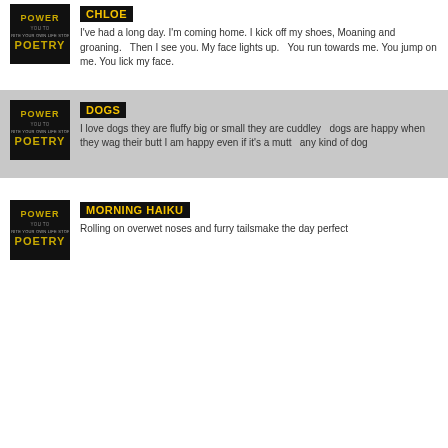[Figure (illustration): Power Poetry logo - black background with stylized text]
CHLOE
I've had a long day. I'm coming home. I kick off my shoes, Moaning and groaning.   Then I see you. My face lights up.   You run towards me. You jump on me. You lick my face.
[Figure (illustration): Power Poetry logo - black background with stylized text]
DOGS
I love dogs they are fluffy big or small they are cuddley   dogs are happy when they wag their butt I am happy even if it's a mutt   any kind of dog
[Figure (illustration): Power Poetry logo - black background with stylized text]
MORNING HAIKU
Rolling on overwet noses and furry tailsmake the day perfect